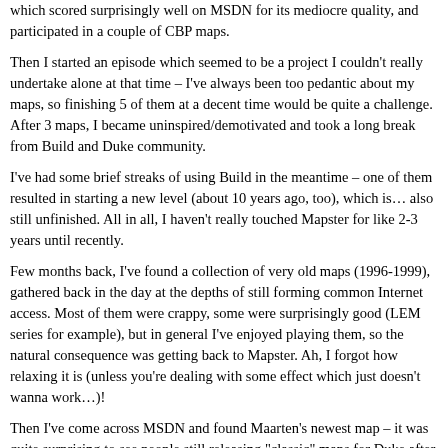which scored surprisingly well on MSDN for its mediocre quality, and participated in a couple of CBP maps.
Then I started an episode which seemed to be a project I couldn't really undertake alone at that time – I've always been too pedantic about my maps, so finishing 5 of them at a decent time would be quite a challenge. After 3 maps, I became uninspired/demotivated and took a long break from Build and Duke community.
I've had some brief streaks of using Build in the meantime – one of them resulted in starting a new level (about 10 years ago, too), which is… also still unfinished. All in all, I haven't really touched Mapster for like 2-3 years until recently.
Few months back, I've found a collection of very old maps (1996-1999), gathered back in the day at the depths of still forming common Internet access. Most of them were crappy, some were surprisingly good (LEM series for example), but in general I've enjoyed playing them, so the natural consequence was getting back to Mapster. Ah, I forgot how relaxing it is (unless you're dealing with some effect which just doesn't wanna work…)!
Then I've come across MSDN and found Maarten's newest map – it was quite surprising to see people still releasing "classic" maps for Duke after so much years, but then it seemed like a good reason to finally get to work and get my stuff released as well. Besides Wudrichem (and Duke's Anniversary World Tour), the most recent release I have played was probably "Clear the Coast" long years ago, so I will have a lot of stuff to catch up.
Now, enough of the heart-warming stories – let's talk business.